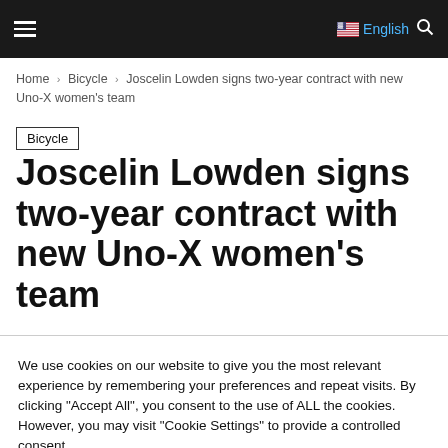≡  English 🔍
Home › Bicycle › Joscelin Lowden signs two-year contract with new Uno-X women's team
Bicycle
Joscelin Lowden signs two-year contract with new Uno-X women's team
We use cookies on our website to give you the most relevant experience by remembering your preferences and repeat visits. By clicking "Accept All", you consent to the use of ALL the cookies. However, you may visit "Cookie Settings" to provide a controlled consent.
Cookie Settings  Accept All